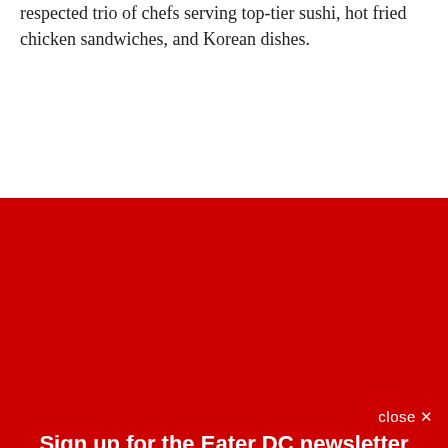respected trio of chefs serving top-tier sushi, hot fried chicken sandwiches, and Korean dishes.
Sign up for the Eater DC newsletter
The freshest news from the local food world
Email (required)
SUBSCRIBE
By submitting your email, you agree to our Terms and Privacy Notice. You can opt out at any time. This site is protected by reCAPTCHA and the Google Privacy Policy and Terms of Service apply.